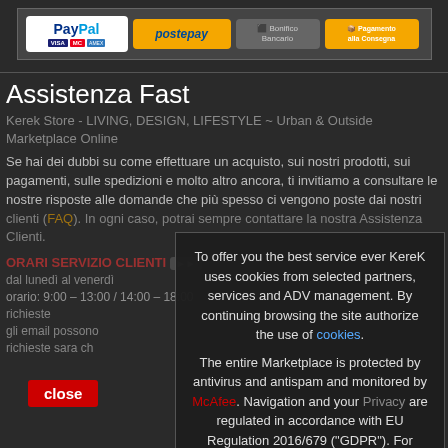[Figure (infographic): Payment methods bar showing PayPal (with VISA, MasterCard, Amex), Postepay, Bonifico Bancario, and Pagamento alla Consegna icons]
Assistenza Fast
Kerek Store - LIVING, DESIGN, LIFESTYLE ~ Urban & Outside Marketplace Online
Se hai dei dubbi su come effettuare un acquisto, sui nostri prodotti, sui pagamenti, sulle spedizioni e molto altro ancora, ti invitiamo a consultare le nostre risposte alle domande che più spesso ci vengono poste dai nostri clienti (FAQ). In ogni caso, potrai sempre contattare la nostra Assistenza Clienti.
ORARI SERVIZIO CLIENTI
To offer you the best service ever KereK uses cookies from selected partners, services and ADV management. By continuing browsing the site authorize the use of cookies. The entire Marketplace is protected by antivirus and antispam and monitored by McAfee. Navigation and your Privacy are regulated in accordance with EU Regulation 2016/679 ("GDPR"). For more information on cookies and how to change the consent and their settings of supported browsers, see the cookie policy.
close